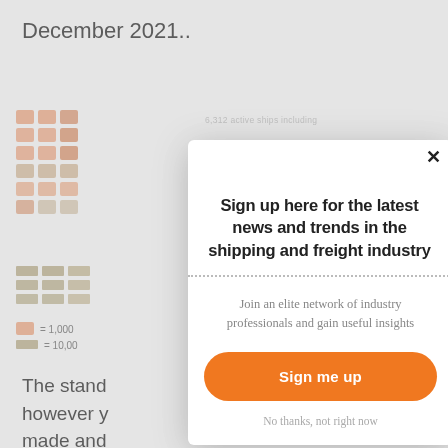December 2021..
[Figure (infographic): Grid of ship/container icons representing fleet count data, with legend showing icon = 1,000 and icon = 10,000 units. Background caption reads '6,312 active ships including']
The stand however made and
Sign up here for the latest news and trends in the shipping and freight industry
Join an elite network of industry professionals and gain useful insights
Sign me up
No thanks, not right now